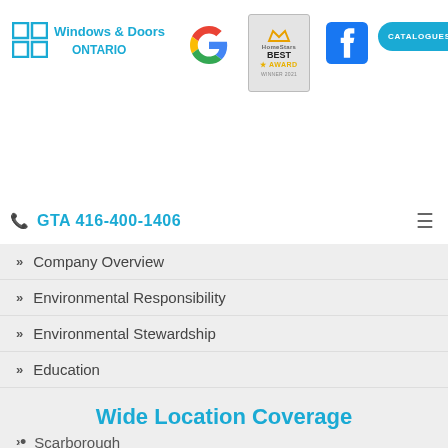Windows & Doors ONTARIO | Google | HouseStars Best Award WINNER 2021 | Facebook | Catalogues
GTA 416-400-1406
Company Overview
Environmental Responsibility
Environmental Stewardship
Education
Catalogue
Contact Us
Wide Location Coverage
Scarborough